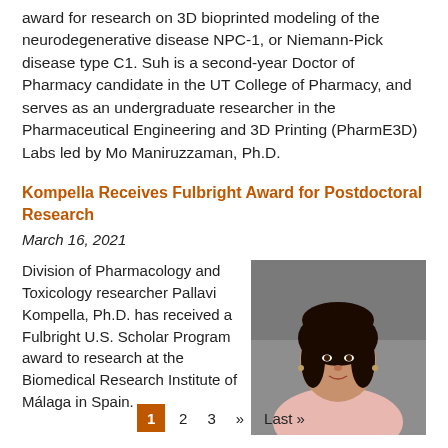award for research on 3D bioprinted modeling of the neurodegenerative disease NPC-1, or Niemann-Pick disease type C1. Suh is a second-year Doctor of Pharmacy candidate in the UT College of Pharmacy, and serves as an undergraduate researcher in the Pharmaceutical Engineering and 3D Printing (PharmE3D) Labs led by Mo Maniruzzaman, Ph.D.
Kompella Receives Fulbright Award for Postdoctoral Research
March 16, 2021
[Figure (photo): Headshot photo of Pallavi Kompella, Ph.D., a woman with dark hair, wearing a light pink top, photographed against a gray background.]
Division of Pharmacology and Toxicology researcher Pallavi Kompella, Ph.D. has received a Fulbright U.S. Scholar Program award to research at the Biomedical Research Institute of Málaga in Spain.
1  2  3  »  Last »